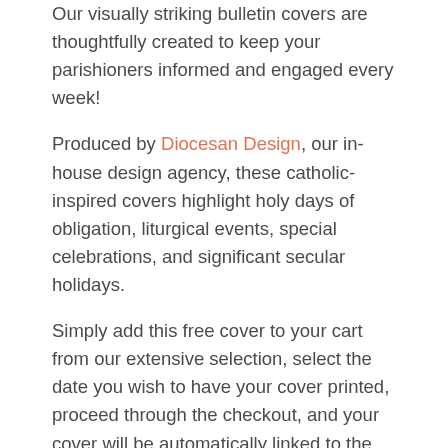Our visually striking bulletin covers are thoughtfully created to keep your parishioners informed and engaged every week!
Produced by Diocesan Design, our in-house design agency, these catholic-inspired covers highlight holy days of obligation, liturgical events, special celebrations, and significant secular holidays.
Simply add this free cover to your cart from our extensive selection, select the date you wish to have your cover printed, proceed through the checkout, and your cover will be automatically linked to the bulletin you upload to us.
Want to customize this cover? Click the Download button above. Please see our Questions and Answers section for more details!